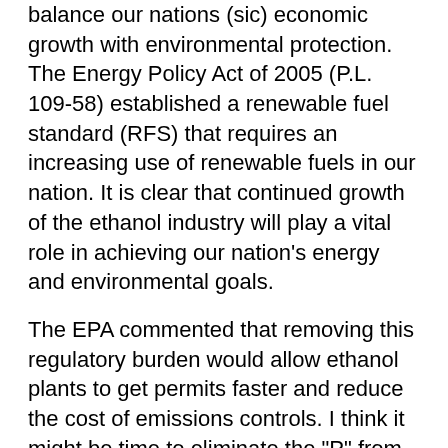balance our nations (sic) economic growth with environmental protection. The Energy Policy Act of 2005 (P.L. 109-58) established a renewable fuel standard (RFS) that requires an increasing use of renewable fuels in our nation. It is clear that continued growth of the ethanol industry will play a vital role in achieving our nation's energy and environmental goals.
The EPA commented that removing this regulatory burden would allow ethanol plants to get permits faster and reduce the cost of emissions controls. I think it might be time to eliminate the "P" from "EPA".
So what effects will this rule have on the ground? I think the biggest effect will be more coal. More plants will choose to fire up with coal rather than natural gas because it is cheaper. Commenters made note of this potential outcome during the comment period. In response, the EPA flatly acknowledged the likelihood of new coal-fired ethanol plants and stated that CO2 emissions will likely increase due to this regulation.